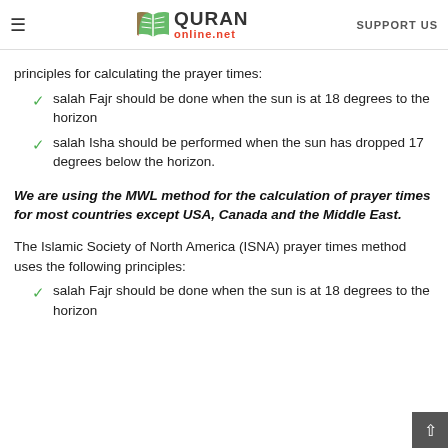QURAN online.net   SUPPORT US
principles for calculating the prayer times:
salah Fajr should be done when the sun is at 18 degrees to the horizon
salah Isha should be performed when the sun has dropped 17 degrees below the horizon.
We are using the MWL method for the calculation of prayer times for most countries except USA, Canada and the Middle East.
The Islamic Society of North America (ISNA) prayer times method uses the following principles:
salah Fajr should be done when the sun is at 18 degrees to the horizon